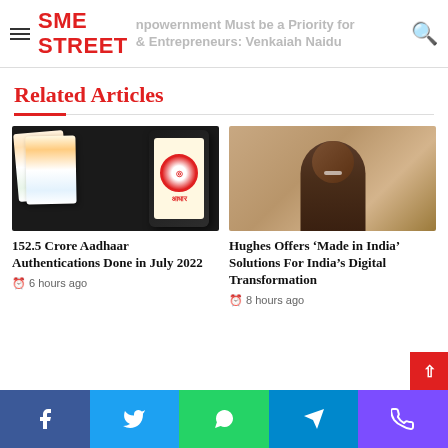SME STREET — npowernment Must be a Priority for & Entrepreneurs: Venkaiah Naidu
Related Articles
[Figure (photo): Aadhaar cards and a smartphone displaying the Aadhaar app logo]
152.5 Crore Aadhaar Authentications Done in July 2022
6 hours ago
[Figure (photo): Portrait of a smiling man in a dark suit against a warm background]
Hughes Offers 'Made in India' Solutions For India's Digital Transformation
8 hours ago
Social share bar: Facebook, Twitter, WhatsApp, Telegram, Phone